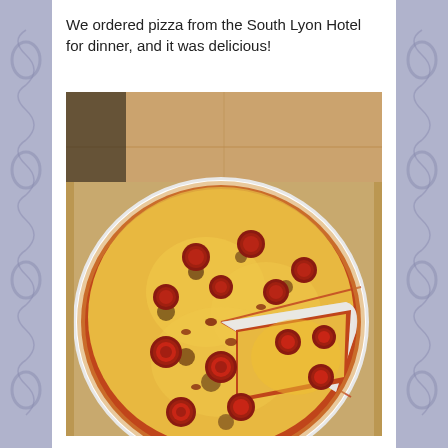We ordered pizza from the South Lyon Hotel for dinner, and it was delicious!
[Figure (photo): A pepperoni pizza in a cardboard delivery box, viewed from above. The pizza is on a white plate/tray, sliced, with one slice partially pulled away. The pizza has abundant pepperoni, melted mozzarella cheese, and tomato sauce with browned/charred spots. The box interior is visible at the top.]